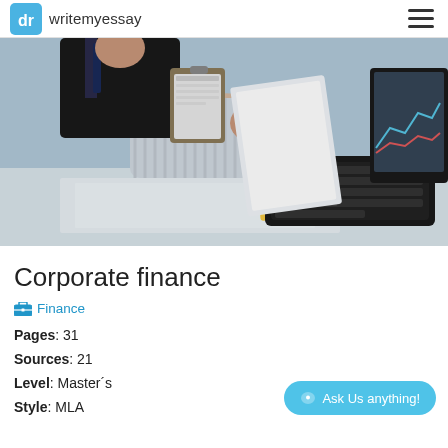dr writemyessay
[Figure (photo): Business professionals at a desk: a woman in a striped shirt holding papers, another person in a suit, a keyboard and computer monitor visible, with a pencil on papers in the foreground.]
Corporate finance
Finance
Pages: 31
Sources: 21
Level: Master´s
Style: MLA